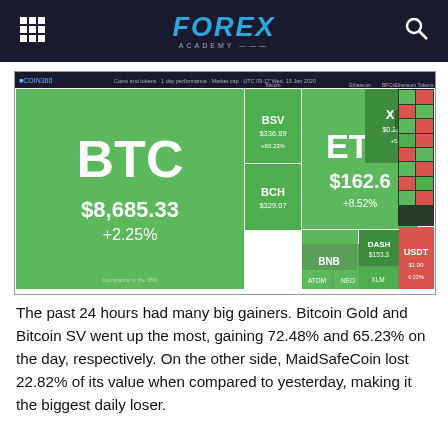FOREX ACADEMY
[Figure (infographic): COIN360 cryptocurrency market treemap showing BTC $8,685.33 +2.25%, ETH $162.6 +8.52%, XRP $0.232688, BSV $336.89, BCH $329.07, EOS $3.67, BNB $16.7, LTC $57.64, TRX, ADA, DASH $153.3, NEO, ATOM, USDT, and various other coins with green/red color coding for 1-day performance by market cap.]
The past 24 hours had many big gainers. Bitcoin Gold and Bitcoin SV went up the most, gaining 72.48% and 65.23% on the day, respectively. On the other side, MaidSafeCoin lost 22.82% of its value when compared to yesterday, making it the biggest daily loser.